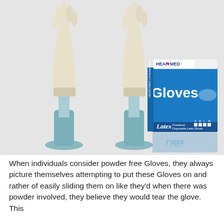[Figure (photo): Product photo showing two cream/beige latex gloves on blue-teal display stands, alongside a blue and white HEARTMED branded box labeled 'Gloves' and 'Latex Powdered Disposable Latex Gloves']
When individuals consider powder free Gloves, they always picture themselves attempting to put these Gloves on and rather of easily sliding them on like they'd when there was powder involved, they believe they would tear the glove. This